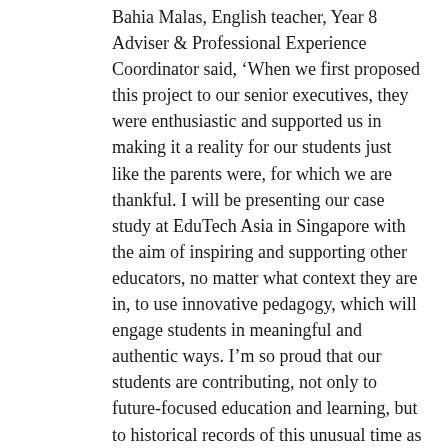Bahia Malas, English teacher, Year 8 Adviser & Professional Experience Coordinator said, ‘When we first proposed this project to our senior executives, they were enthusiastic and supported us in making it a reality for our students just like the parents were, for which we are thankful. I will be presenting our case study at EduTech Asia in Singapore with the aim of inspiring and supporting other educators, no matter what context they are in, to use innovative pedagogy, which will engage students in meaningful and authentic ways. I’m so proud that our students are contributing, not only to future-focused education and learning, but to historical records of this unusual time as well. Our students are so excited to leave their mark on the world by creating a published book and are motivated to be better writers because their work will be valuable to many people.”
Kerry-Anne Faria, English/History teacher, Year 7